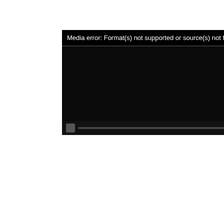[Figure (screenshot): Video player showing media error: Format(s) not supported or source(s) not found. Black screen with error message at top and dark controls area.]
Hon. Pierre Poilievre (Carleton, CPC):
Thank you.
Minister Goodale, we have literally thousands of kilometres of highway that are enforced by the RCMP, which reports to you. Do we have RCMP eyes on every hundred metres of that highway in order to enforce those laws?